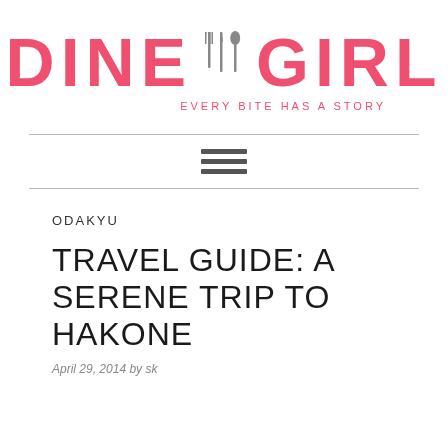[Figure (logo): Dine Girl logo with cutlery icon and tagline 'Every Bite Has a Story']
ODAKYU
TRAVEL GUIDE: A SERENE TRIP TO HAKONE
April 29, 2014 by sk